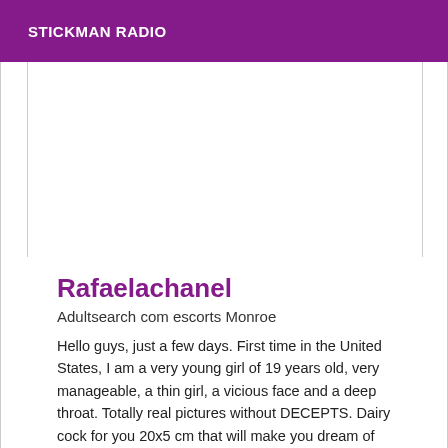STICKMAN RADIO
[Figure (other): Advertisement or empty white space placeholder]
Rafaelachanel
Adultsearch com escorts Monroe
Hello guys, just a few days. First time in the United States, I am a very young girl of 19 years old, very manageable, a thin girl, a vicious face and a deep throat. Totally real pictures without DECEPTS. Dairy cock for you 20x5 cm that will make you dream of active pleasure very cane. Do you feel like a rich pipe? Come and use